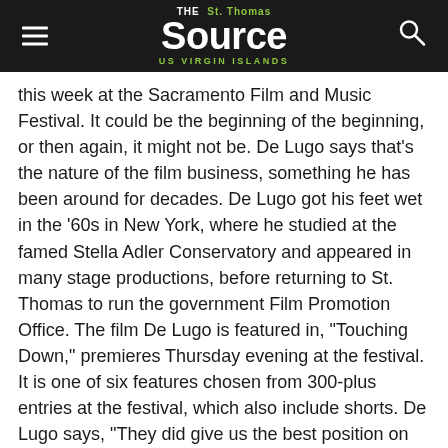THE St. Thomas Source US VIRGIN ISLANDS
this week at the Sacramento Film and Music Festival. It could be the beginning of the beginning, or then again, it might not be. De Lugo says that's the nature of the film business, something he has been around for decades. De Lugo got his feet wet in the '60s in New York, where he studied at the famed Stella Adler Conservatory and appeared in many stage productions, before returning to St. Thomas to run the government Film Promotion Office. The film De Lugo is featured in, "Touching Down," premieres Thursday evening at the festival. It is one of six features chosen from 300-plus entries at the festival, which also include shorts. De Lugo says, "They did give us the best position on their Web site, sacfilm.com, so that bodes well for our future. Sara Lewis is the lead, it's her story. I have the co-starring role as her volatile father."